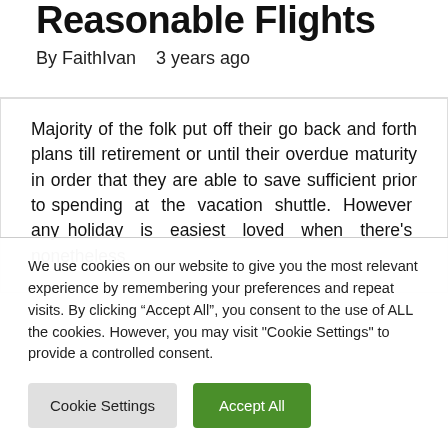Reasonable Flights
By FaithIvan   3 years ago
Majority of the folk put off their go back and forth plans till retirement or until their overdue maturity in order that they are able to save sufficient prior to spending at the vacation shuttle. However any holiday is easiest loved when there's nonetheless
We use cookies on our website to give you the most relevant experience by remembering your preferences and repeat visits. By clicking “Accept All”, you consent to the use of ALL the cookies. However, you may visit "Cookie Settings" to provide a controlled consent.